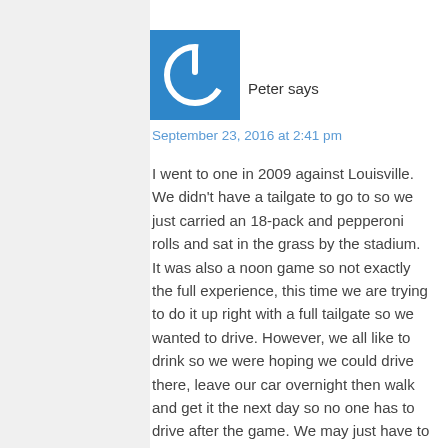[Figure (logo): Blue square avatar with white power button icon]
Peter says
September 23, 2016 at 2:41 pm
I went to one in 2009 against Louisville. We didn't have a tailgate to go to so we just carried an 18-pack and pepperoni rolls and sat in the grass by the stadium. It was also a noon game so not exactly the full experience, this time we are trying to do it up right with a full tailgate so we wanted to drive. However, we all like to drink so we were hoping we could drive there, leave our car overnight then walk and get it the next day so no one has to drive after the game. We may just have to plan a DD if we can't